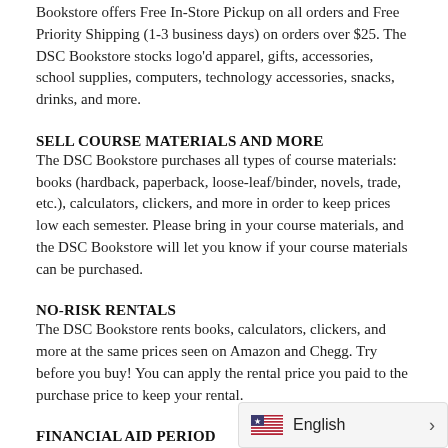Bookstore offers Free In-Store Pickup on all orders and Free Priority Shipping (1-3 business days) on orders over $25. The DSC Bookstore stocks logo'd apparel, gifts, accessories, school supplies, computers, technology accessories, snacks, drinks, and more.
SELL COURSE MATERIALS AND MORE
The DSC Bookstore purchases all types of course materials: books (hardback, paperback, loose-leaf/binder, novels, trade, etc.), calculators, clickers, and more in order to keep prices low each semester. Please bring in your course materials, and the DSC Bookstore will let you know if your course materials can be purchased.
NO-RISK RENTALS
The DSC Bookstore rents books, calculators, clickers, and more at the same prices seen on Amazon and Chegg. Try before you buy! You can apply the rental price you paid to the purchase price to keep your rental.
FINANCIAL AID PERIOD